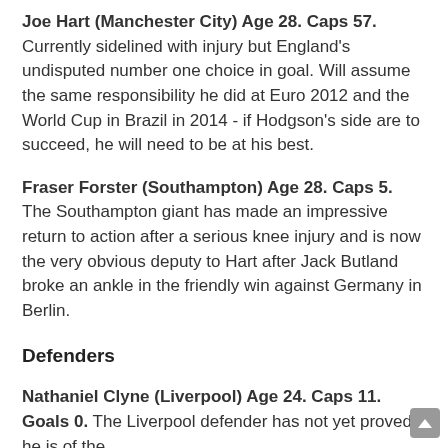Joe Hart (Manchester City) Age 28. Caps 57. Currently sidelined with injury but England's undisputed number one choice in goal. Will assume the same responsibility he did at Euro 2012 and the World Cup in Brazil in 2014 - if Hodgson's side are to succeed, he will need to be at his best.
Fraser Forster (Southampton) Age 28. Caps 5. The Southampton giant has made an impressive return to action after a serious knee injury and is now the very obvious deputy to Hart after Jack Butland broke an ankle in the friendly win against Germany in Berlin.
Defenders
Nathaniel Clyne (Liverpool) Age 24. Caps 11. Goals 0. The Liverpool defender has not yet proved he is of the